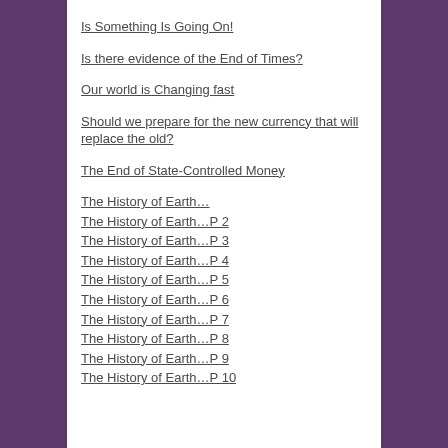Is Something Is Going On!
Is there evidence of the End of Times?
Our world is Changing fast
Should we prepare for the new currency that will replace the old?
The End of State-Controlled Money
The History of Earth…
The History of Earth…P 2
The History of Earth…P 3
The History of Earth…P 4
The History of Earth…P 5
The History of Earth…P 6
The History of Earth…P 7
The History of Earth…P 8
The History of Earth…P 9
The History of Earth…P 10